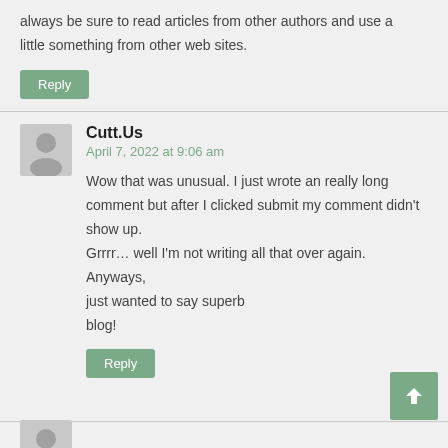always be sure to read articles from other authors and use a little something from other web sites.
Reply
Cutt.Us
April 7, 2022 at 9:06 am
Wow that was unusual. I just wrote an really long comment but after I clicked submit my comment didn't show up.
Grrrr… well I'm not writing all that over again. Anyways, just wanted to say superb blog!
Reply